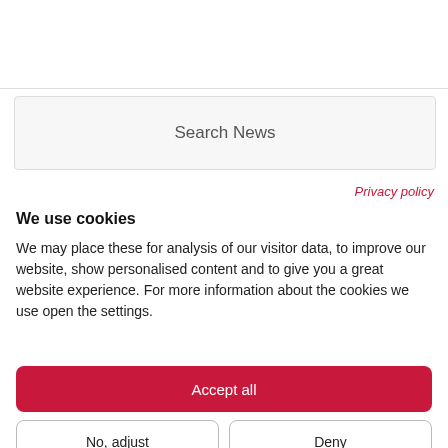[Figure (screenshot): Top white area of a webpage with a thin horizontal divider line]
Search News
Privacy policy
We use cookies
We may place these for analysis of our visitor data, to improve our website, show personalised content and to give you a great website experience. For more information about the cookies we use open the settings.
Accept all
No, adjust
Deny